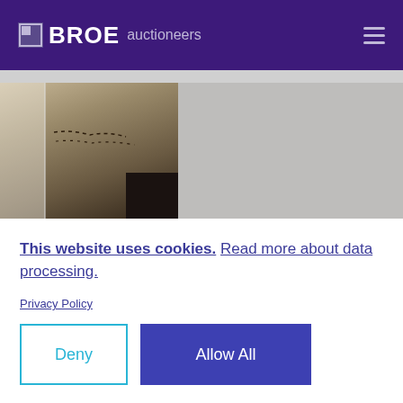BROE auctioneers
[Figure (photo): Left: interior room photo with wall cracks/marks visible. Right: gray placeholder image area.]
This website uses cookies. Read more about data processing.
Privacy Policy
Deny
Allow All